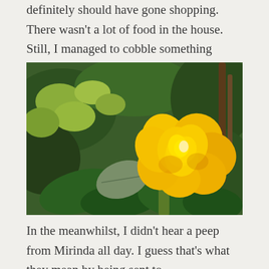definitely should have gone shopping. There wasn't a lot of food in the house. Still, I managed to cobble something together.
[Figure (photo): A bright yellow rose in full bloom, photographed outdoors against a lush green leafy background.]
In the meanwhilst, I didn't hear a peep from Mirinda all day. I guess that's what they mean by being sent to